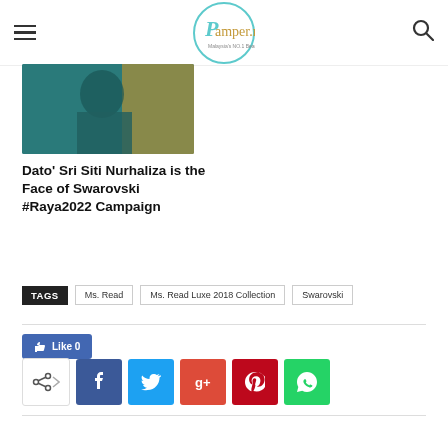Pamper.my — Malaysia's NO.1 Beauty & Lifestyle Website
[Figure (photo): Partial photo of Dato' Sri Siti Nurhaliza in teal outfit with orange/gold background]
Dato' Sri Siti Nurhaliza is the Face of Swarovski #Raya2022 Campaign
TAGS: Ms. Read | Ms. Read Luxe 2018 Collection | Swarovski
Like 0
[Figure (infographic): Social share buttons: share, Facebook, Twitter, Google+, Pinterest, WhatsApp]